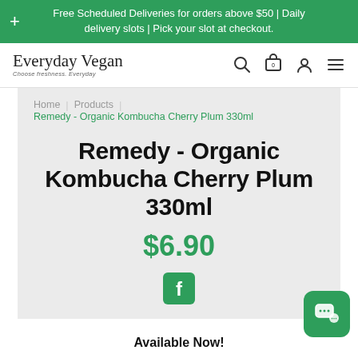Free Scheduled Deliveries for orders above $50 | Daily delivery slots | Pick your slot at checkout.
[Figure (logo): Everyday Vegan logo with cursive text and tagline 'Choose freshness. Everyday']
Home / Products / Remedy - Organic Kombucha Cherry Plum 330ml
Remedy - Organic Kombucha Cherry Plum 330ml
$6.90
[Figure (logo): Facebook share icon]
Available Now!